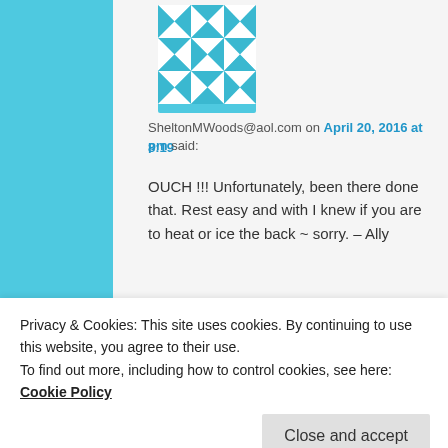[Figure (illustration): Blue and white geometric quilt-pattern avatar icon]
SheltonMWoods@aol.com on April 20, 2016 at 8:19 pm said:
OUCH !!! Unfortunately, been there done that. Rest easy and with I knew if you are to heat or ice the back ~ sorry. – Ally
Loading...
Reply ↓
robertajestes
Privacy & Cookies: This site uses cookies. By continuing to use this website, you agree to their use.
To find out more, including how to control cookies, see here: Cookie Policy
Close and accept